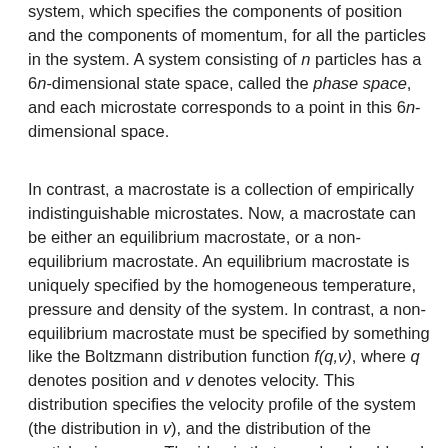system, which specifies the components of position and the components of momentum, for all the particles in the system. A system consisting of n particles has a 6n-dimensional state space, called the phase space, and each microstate corresponds to a point in this 6n-dimensional space.
In contrast, a macrostate is a collection of empirically indistinguishable microstates. Now, a macrostate can be either an equilibrium macrostate, or a non-equilibrium macrostate. An equilibrium macrostate is uniquely specified by the homogeneous temperature, pressure and density of the system. In contrast, a non-equilibrium macrostate must be specified by something like the Boltzmann distribution function f(q,v), where q denotes position and v denotes velocity. This distribution specifies the velocity profile of the system (the distribution in v), and the distribution of the particles in space. The idea is that q and v should each be partitioned into macroscopically small, but microscopically large cells, and a macrostate of the n-particle system can then be specified by the number of particles in each cell. The equilibrium macrostates then correspond to the special class of Boltzmann distribution functions in which the particles are